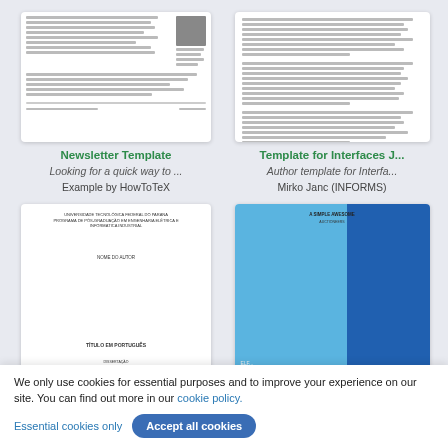[Figure (screenshot): Thumbnail of a Newsletter Template document preview]
Newsletter Template
Looking for a quick way to ...
Example by HowToTeX
[Figure (screenshot): Thumbnail of Template for Interfaces J... document preview showing dense text]
Template for Interfaces J...
Author template for Interfa...
Mirko Janc (INFORMS)
[Figure (screenshot): Thumbnail of a thesis/dissertation document cover page in Portuguese from Universidade Tecnológica Federal do Paraná]
[Figure (screenshot): Thumbnail of a simple two-tone blue book/report cover design]
We only use cookies for essential purposes and to improve your experience on our site. You can find out more in our cookie policy.
Essential cookies only
Accept all cookies